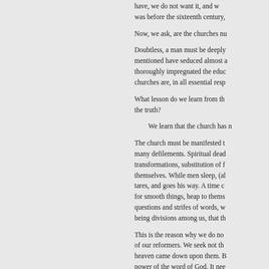have, we do not want it, and what was before the sixteenth century,
Now, we ask, are the churches nu
Doubtless, a man must be deeply mentioned have seduced almost a thoroughly impregnated the educ churches are, in all essential resp
What lesson do we learn from th the truth?
We learn that the church has n
The church must be manifested t many defilements. Spiritual dead transformations, substitution of f themselves. While men sleep, (al tares, and goes his way. A time c for smooth things, heap to thems questions and strifes of words, w being divisions among us, that th
This is the reason why we do no of our reformers. We seek not th heaven came down upon them. B power of the word of God. It nee